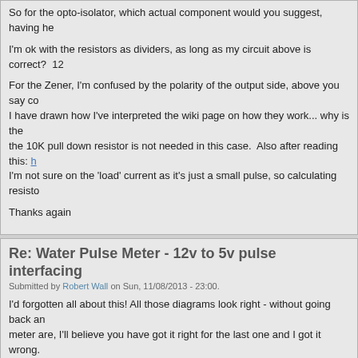So for the opto-isolator, which actual component would you suggest, having he
I'm ok with the resistors as dividers, as long as my circuit above is correct?  12
For the Zener, I'm confused by the polarity of the output side, above you say co I have drawn how I've interpreted the wiki page on how they work... why is the the 10K pull down resistor is not needed in this case.  Also after reading this: h I'm not sure on the 'load' current as it's just a small pulse, so calculating resisto
Thanks again
Re: Water Pulse Meter - 12v to 5v pulse interfacing
Submitted by Robert Wall on Sun, 11/08/2013 - 23:00.
I'd forgotten all about this! All those diagrams look right - without going back an meter are, I'll believe you have got it right for the last one and I got it wrong.
As for the opto - I guess pretty much any general purpose one will do. Your me LED data sheet will define the minimum current to work, and as long as that les you name your preferred supplier, I could look at their catalogue - or better still, I'll check it!  The resistor value is 12 V - the opto LED drop (from the data shee the current (from the data sheet, which should be above the minimum by a sma
The zener just needs enough current to work. There is essentially no current g